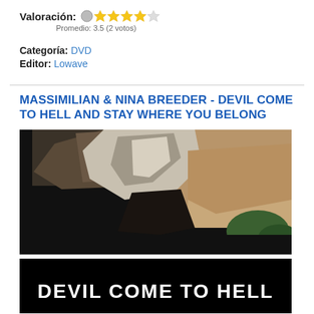Valoración: [star rating graphic] Promedio: 3.5 (2 votos)
Categoría: DVD
Editor: Lowave
MASSIMILIAN & NINA BREEDER - DEVIL COME TO HELL AND STAY WHERE YOU BELONG
[Figure (photo): Black-bordered landscape photo of a rocky canyon with dramatic cliff faces and natural scenery, resembling the Grand Canyon.]
[Figure (screenshot): Black title card with white bold text reading 'DEVIL COME TO HELL']